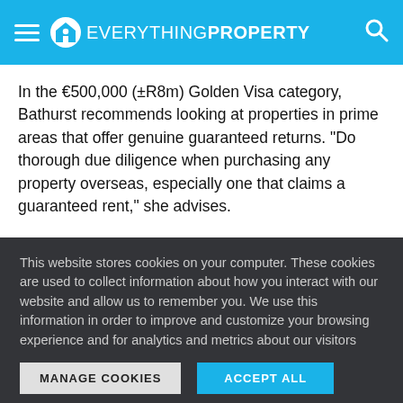EverythingProperty
In the €500,000 (±R8m) Golden Visa category, Bathurst recommends looking at properties in prime areas that offer genuine guaranteed returns. "Do thorough due diligence when purchasing any property overseas, especially one that claims a guaranteed rent," she advises.
This website stores cookies on your computer. These cookies are used to collect information about how you interact with our website and allow us to remember you. We use this information in order to improve and customize your browsing experience and for analytics and metrics about our visitors both on this website and other media. To find out more about the cookies we use, see our Privacy Policy